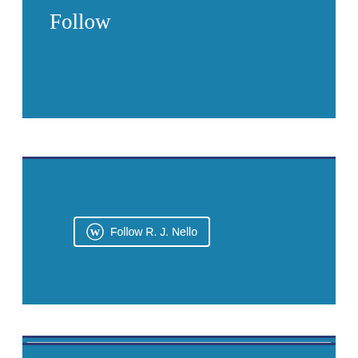Follow
[Figure (other): WordPress follow button widget area with blue background and 'Follow R. J. Nello' button with WordPress logo]
Privacy & Cookies: This site uses cookies. By continuing to use this website, you agree to their use.
To find out more, including how to control cookies, see here: Cookie Policy
Close and accept